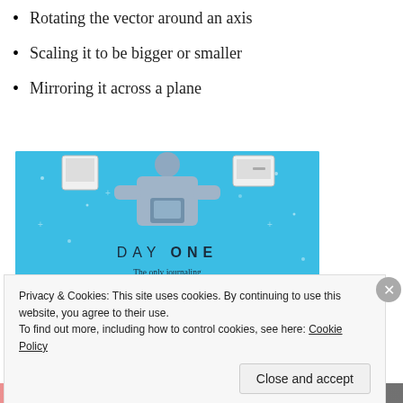Rotating the vector around an axis
Scaling it to be bigger or smaller
Mirroring it across a plane
[Figure (illustration): DAY ONE app advertisement banner. Blue background with a person holding a phone/device wearing a grey shirt. Text reads: DAY ONE - The only journaling app you'll ever need. Get the app button shown.]
Privacy & Cookies: This site uses cookies. By continuing to use this website, you agree to their use.
To find out more, including how to control cookies, see here: Cookie Policy
Close and accept